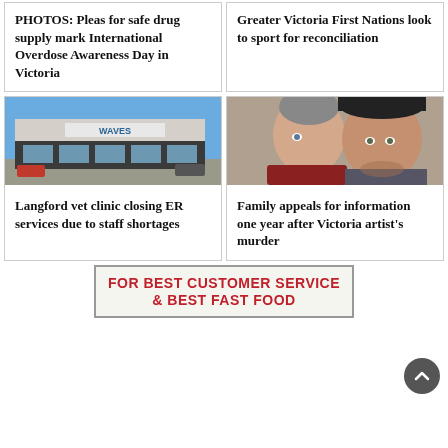PHOTOS: Pleas for safe drug supply mark International Overdose Awareness Day in Victoria
Greater Victoria First Nations look to sport for reconciliation
[Figure (photo): Exterior photo of Waves coffee shop / vet clinic building in Langford, with blue sky and parked cars]
Langford vet clinic closing ER services due to staff shortages
[Figure (photo): Photo of a woman and man posing together, selfie style]
Family appeals for information one year after Victoria artist's murder
[Figure (infographic): Advertisement banner: FOR BEST CUSTOMER SERVICE & BEST FAST FOOD]